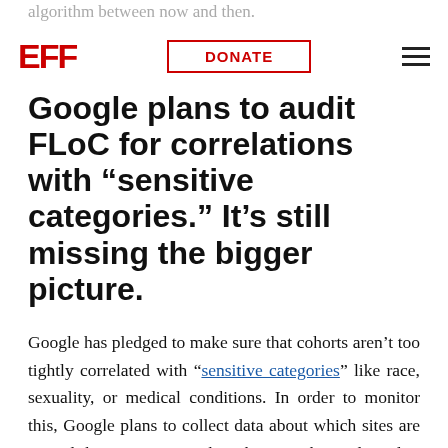algorithm between now and then.
[Figure (logo): EFF logo in red block letters]
Google plans to audit FLoC for correlations with “sensitive categories.” It’s still missing the bigger picture.
Google has pledged to make sure that cohorts aren’t too tightly correlated with “sensitive categories” like race, sexuality, or medical conditions. In order to monitor this, Google plans to collect data about which sites are visited by users in each cohort. It has released a whitepaper describing its approach.
We’re glad to see a specific proposal, but the auditing approach has some serious shortcomings. The